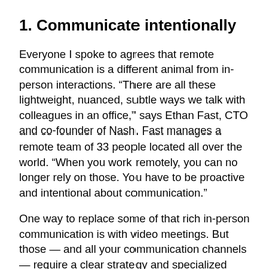1. Communicate intentionally
Everyone I spoke to agrees that remote communication is a different animal from in-person interactions. “There are all these lightweight, nuanced, subtle ways we talk with colleagues in an office,” says Ethan Fast, CTO and co-founder of Nash. Fast manages a remote team of 33 people located all over the world. “When you work remotely, you can no longer rely on those. You have to be proactive and intentional about communication.”
One way to replace some of that rich in-person communication is with video meetings. But those — and all your communication channels — require a clear strategy and specialized skills.
“I know that the best organizations deliberate and…